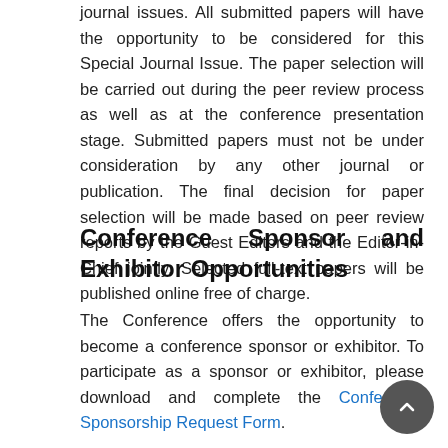journal issues. All submitted papers will have the opportunity to be considered for this Special Journal Issue. The paper selection will be carried out during the peer review process as well as at the conference presentation stage. Submitted papers must not be under consideration by any other journal or publication. The final decision for paper selection will be made based on peer review reports by the Guest Editors and the Editor-in-Chief jointly. Selected full-text papers will be published online free of charge.
Conference Sponsor and Exhibitor Opportunities
The Conference offers the opportunity to become a conference sponsor or exhibitor. To participate as a sponsor or exhibitor, please download and complete the Conference Sponsorship Request Form.